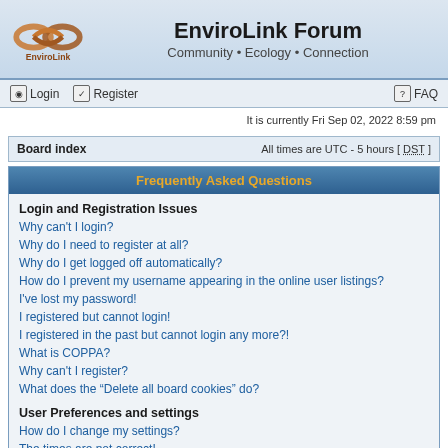EnviroLink Forum — Community • Ecology • Connection
Login  Register  FAQ
It is currently Fri Sep 02, 2022 8:59 pm
Board index   All times are UTC - 5 hours [ DST ]
Frequently Asked Questions
Login and Registration Issues
Why can't I login?
Why do I need to register at all?
Why do I get logged off automatically?
How do I prevent my username appearing in the online user listings?
I've lost my password!
I registered but cannot login!
I registered in the past but cannot login any more?!
What is COPPA?
Why can't I register?
What does the "Delete all board cookies" do?
User Preferences and settings
How do I change my settings?
The times are not correct!
I changed the timezone and the time is still wrong!
My language is not in the list!